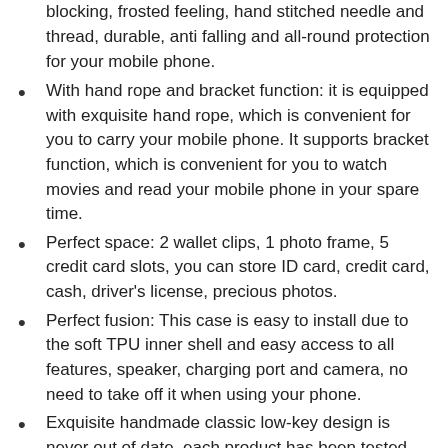blocking, frosted feeling, hand stitched needle and thread, durable, anti falling and all-round protection for your mobile phone.
With hand rope and bracket function: it is equipped with exquisite hand rope, which is convenient for you to carry your mobile phone. It supports bracket function, which is convenient for you to watch movies and read your mobile phone in your spare time.
Perfect space: 2 wallet clips, 1 photo frame, 5 credit card slots, you can store ID card, credit card, cash, driver's license, precious photos.
Perfect fusion: This case is easy to install due to the soft TPU inner shell and easy access to all features, speaker, charging port and camera, no need to take off it when using your phone.
Exquisite handmade classic low-key design is never out of date, each product has been tested twice, if there is a quality problem, there is no